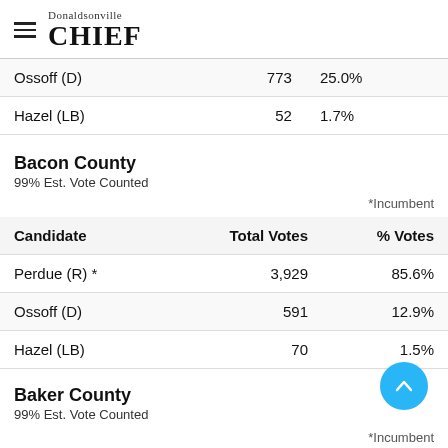Donaldsonville CHIEF
| Candidate | Total Votes | % Votes |
| --- | --- | --- |
| Ossoff (D) | 773 | 25.0% |
| Hazel (LB) | 52 | 1.7% |
Bacon County
99% Est. Vote Counted
*Incumbent
| Candidate | Total Votes | % Votes |
| --- | --- | --- |
| Perdue (R) * | 3,929 | 85.6% |
| Ossoff (D) | 591 | 12.9% |
| Hazel (LB) | 70 | 1.5% |
Baker County
99% Est. Vote Counted
*Incumbent